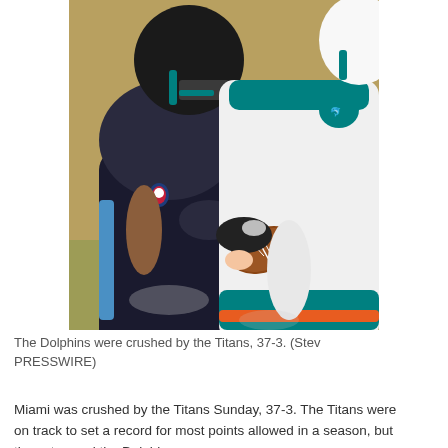[Figure (photo): Close-up action photo of an NFL football game: a Tennessee Titans player (in dark jersey and light blue pants) tackling a Miami Dolphins quarterback (in white jersey with teal/orange details) who is holding the football. Both players are shown from roughly chest/torso level down. The Titans player has an NFL shield logo visible on their jersey.]
The Dolphins were crushed by the Titans, 37-3. (Stev PRESSWIRE)
Miami was crushed by the Titans Sunday, 37-3. The Titans were on track to set a record for most points allowed in a season, but then stumped the Dolphins.